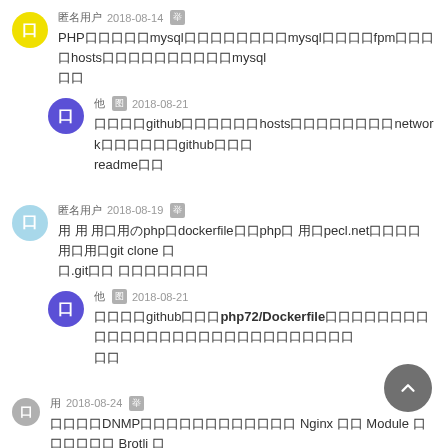匿名用户 2018-08-14 举报 PHPの用の用のmysqlの用の用の用の用の用mysqlの用の用fpmの用の用hostsの用の用の用の用の用の用mysqlの用
他 图 2018-08-21 他の用のgithubの用の用の用の用hostsの用の用の用の用の用networkの用の用の用githubの用の用readmeの用
匿名用户 2018-08-19 举报 用 用 用の用のphpのdockerfileの用phpの用 用のpecl.netの用の用の用 用の用git clone の用.gitの用 の用の用の用の用の用
他 图 2018-08-21 他の用のgithubの用の用php72/Dockerfileの用の用の用の用の用の用の用の用の用の用の用の用の用の用の用の用の用
用 2018-08-24 举报 の用の用DNMPの用の用の用の用の用の用の用 Nginx の用 Module の用の用の用 Brotli の PageSpeed の
他 图 2018-08-28